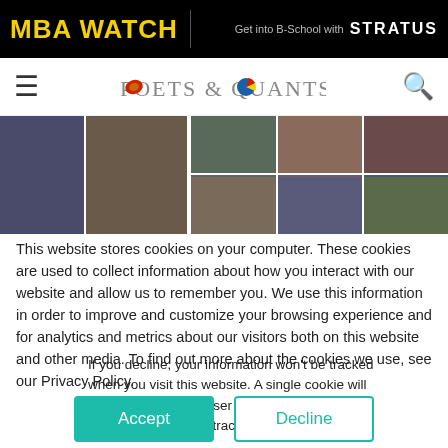MBA WATCH | Get into B-School with STRATUS
[Figure (logo): Poets & Quants logo with navigation bar (hamburger menu left, search icon right)]
[Figure (photo): Photo strip of various MBA students/people]
This website stores cookies on your computer. These cookies are used to collect information about how you interact with our website and allow us to remember you. We use this information in order to improve and customize your browsing experience and for analytics and metrics about our visitors both on this website and other media. To find out more about the cookies we use, see our Privacy Policy.
If you decline, your information won’t be tracked when you visit this website. A single cookie will be used in your browser to remember your preference not to be tracked.